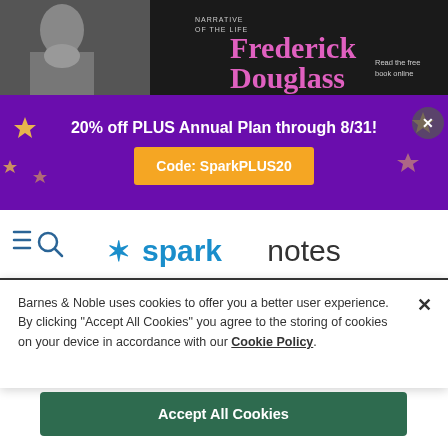[Figure (screenshot): Banner image of Frederick Douglass with book title 'Narrative of the Life of Frederick Douglass' and 'Read the free book online' text on dark background]
[Figure (screenshot): Purple promotional banner: '20% off PLUS Annual Plan through 8/31!' with orange button 'Code: SparkPLUS20' and decorative stars]
[Figure (logo): SparkNotes logo with asterisk star and menu/search icons on white nav bar]
Barnes & Noble uses cookies to offer you a better user experience. By clicking "Accept All Cookies" you agree to the storing of cookies on your device in accordance with our Cookie Policy.
Accept All Cookies
Reject All Cookies
Manage Preferences